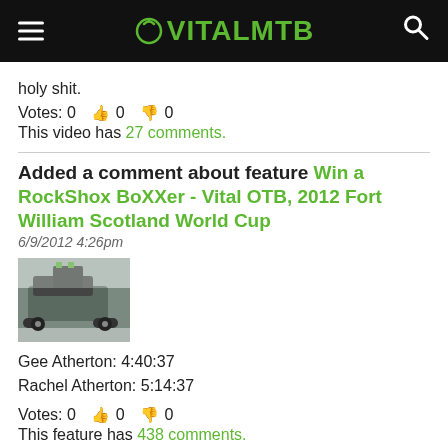VITALMTB
holy shit.
Votes: 0  👍0  👎0
This video has 27 comments.
Added a comment about feature Win a RockShox BoXXer - Vital OTB, 2012 Fort William Scotland World Cup
6/9/2012 4:26pm
[Figure (photo): Thumbnail image of a vehicle with bike rack at a race venue]
Gee Atherton: 4:40:37
Rachel Atherton: 5:14:37
Votes: 0  👍0  👎0
This feature has 438 comments.
Added a comment about video How To: Procrastinate 2 -